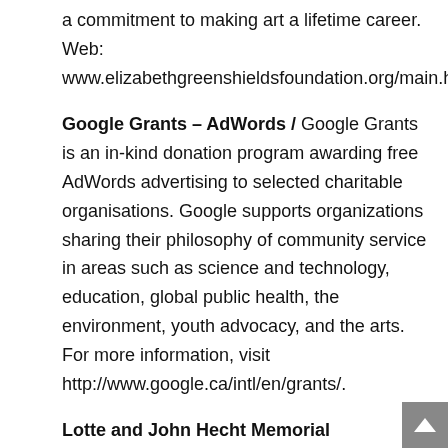a commitment to making art a lifetime career. Web: www.elizabethgreenshieldsfoundation.org/main.html.
Google Grants – AdWords / Google Grants is an in-kind donation program awarding free AdWords advertising to selected charitable organisations. Google supports organizations sharing their philosophy of community service in areas such as science and technology, education, global public health, the environment, youth advocacy, and the arts. For more information, visit http://www.google.ca/intl/en/grants/.
Lotte and John Hecht Memorial Foundation / The Lotte and John Hecht Memorial Foundation has two major objectives: investigation and support of complementary and alternative medicine, particularly in the treatment of cancer; and economic education that promotes the principles of a free market. The Foundation also supplies support to organizations that help people who fall through the social safety net of government